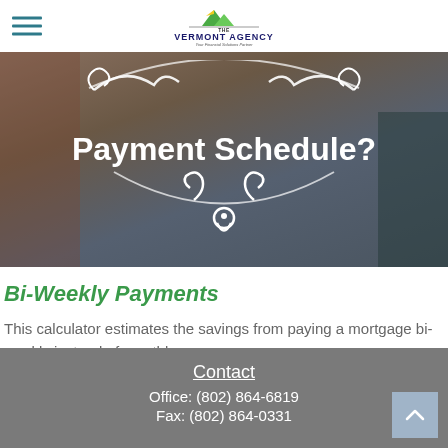The Vermont Agency — Your Financial Solutions Partner
[Figure (photo): Hero banner image showing a person working at a desk/kitchen counter with text overlay reading 'Payment Schedule?' and decorative white scroll ornament. Background shows brick wall and filing cabinets.]
Bi-Weekly Payments
This calculator estimates the savings from paying a mortgage bi-weekly instead of monthly.
Contact
Office: (802) 864-6819
Fax: (802) 864-0331